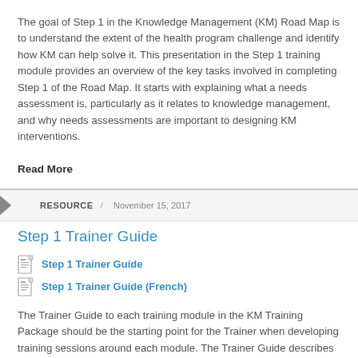The goal of Step 1 in the Knowledge Management (KM) Road Map is to understand the extent of the health program challenge and identify how KM can help solve it. This presentation in the Step 1 training module provides an overview of the key tasks involved in completing Step 1 of the Road Map. It starts with explaining what a needs assessment is, particularly as it relates to knowledge management, and why needs assessments are important to designing KM interventions.
Read More
RESOURCE / November 15, 2017
Step 1 Trainer Guide
Step 1 Trainer Guide
Step 1 Trainer Guide (French)
The Trainer Guide to each training module in the KM Training Package should be the starting point for the Trainer when developing training sessions around each module. The Trainer Guide describes